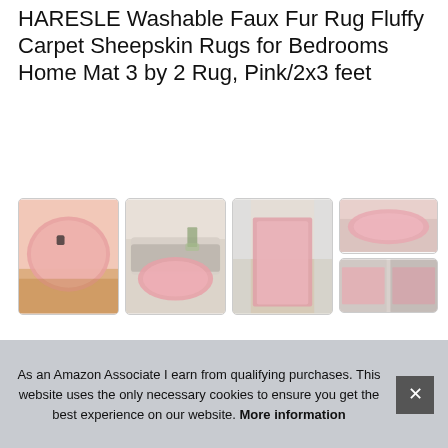HARESLE Washable Faux Fur Rug Fluffy Carpet Sheepskin Rugs for Bedrooms Home Mat 3 by 2 Rug, Pink/2x3 feet
[Figure (photo): Four product thumbnail images of a pink fluffy faux fur rug shown in different room settings and angles]
HARESLE - Size: 1. 3x2 feet 40x60 cm; 2x3 feet 60x90 cm; 2x4 feet ... 4x6 ... Mat ... soft
As an Amazon Associate I earn from qualifying purchases. This website uses the only necessary cookies to ensure you get the best experience on our website. More information